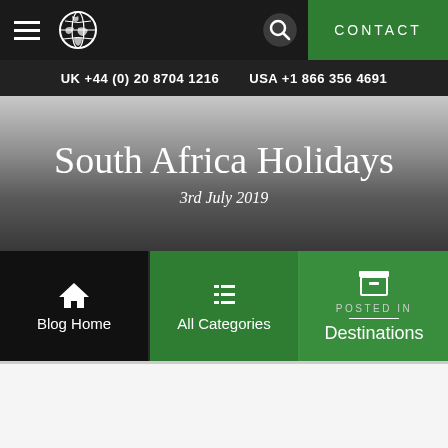CONTACT | UK +44 (0) 20 8704 1216  USA +1 866 356 4691
South Africa Holidays
3rd July 2019
Blog Home
All Categories
POSTED IN
Destinations